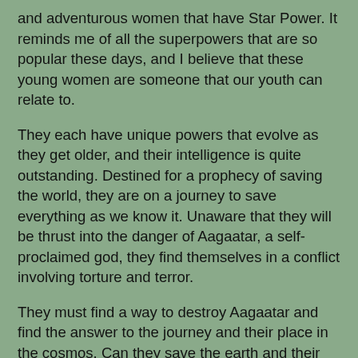and adventurous women that have Star Power. It reminds me of all the superpowers that are so popular these days, and I believe that these young women are someone that our youth can relate to.
They each have unique powers that evolve as they get older, and their intelligence is quite outstanding. Destined for a prophecy of saving the world, they are on a journey to save everything as we know it. Unaware that they will be thrust into the danger of Aagaatar, a self-proclaimed god, they find themselves in a conflict involving torture and terror.
They must find a way to destroy Aagaatar and find the answer to the journey and their place in the cosmos. Can they save the earth and their lives when the information is so scarce?
I enjoyed the story although I was a bit confused when we went from earth to the stars. Also when one of the side characters dies, there does not appear to be much emotion. I also found it to be strange that women with such intelligence and education act with such girlish abandon.